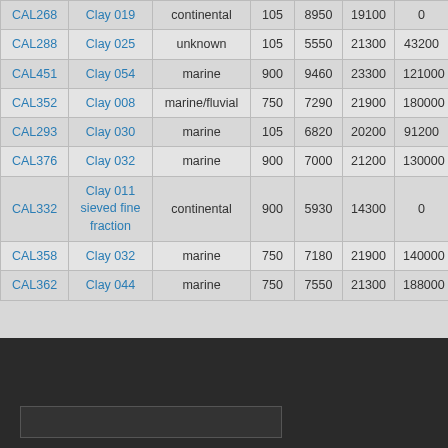| ID | Name | Type | Col4 | Col5 | Col6 | Col7 |
| --- | --- | --- | --- | --- | --- | --- |
| CAL268 | Clay 019 | continental | 105 | 8950 | 19100 | 0 |
| CAL288 | Clay 025 | unknown | 105 | 5550 | 21300 | 43200 |
| CAL451 | Clay 054 | marine | 900 | 9460 | 23300 | 121000 |
| CAL352 | Clay 008 | marine/fluvial | 750 | 7290 | 21900 | 180000 |
| CAL293 | Clay 030 | marine | 105 | 6820 | 20200 | 91200 |
| CAL376 | Clay 032 | marine | 900 | 7000 | 21200 | 130000 |
| CAL332 | Clay 011 sieved fine fraction | continental | 900 | 5930 | 14300 | 0 |
| CAL358 | Clay 032 | marine | 750 | 7180 | 21900 | 140000 |
| CAL362 | Clay 044 | marine | 750 | 7550 | 21300 | 188000 |
« first ‹ previous 1 2 3